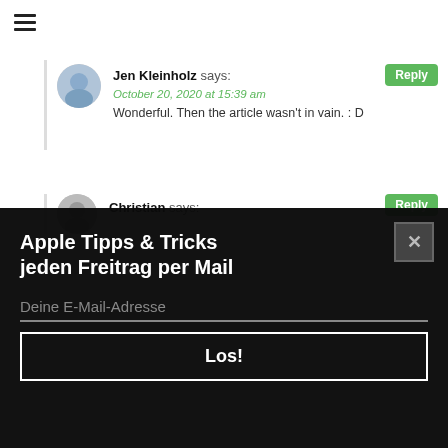[Figure (other): Hamburger menu icon (three horizontal lines)]
Jen Kleinholz says:
October 20, 2020 at 15:39 am
Wonderful. Then the article wasn't in vain. : D
Christian says:
Apple Tipps & Tricks jeden Freitrag per Mail
Deine E-Mail-Adresse
Los!